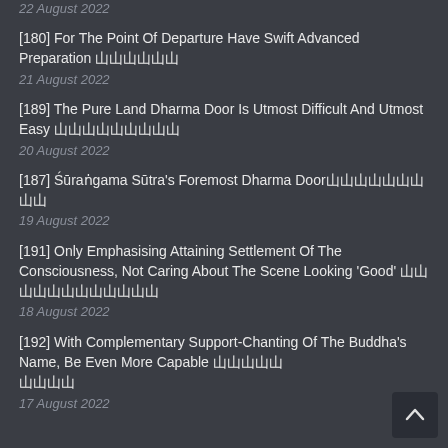22 August 2022
[180] For The Point Of Departure Have Swift Advanced Preparation 出門要提前準備
21 August 2022
[189] The Pure Land Dharma Door Is Utmost Difficult And Utmost Easy 淨土法門是極難極易
20 August 2022
[187] Śūraṅgama Sūtra's Foremost Dharma Door楞嚴經最重要的法門
19 August 2022
[191] Only Emphasising Attaining Settlement Of The Consciousness, Not Caring About The Scene Looking 'Good' 只重視神識安詳，不在乎場面好看
18 August 2022
[192] With Complementary Support-Chanting Of The Buddha's Name, Be Even More Capable 助念佛號，更能
17 August 2022